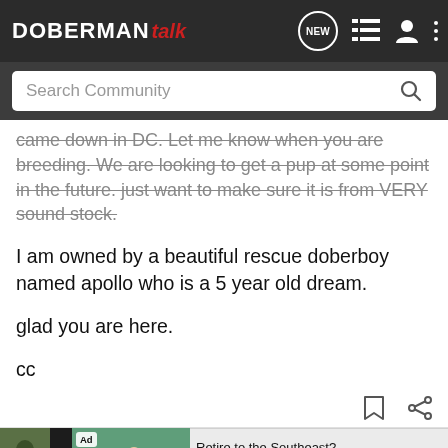DOBERMAN talk — navigation bar with NEW, list, profile, and menu icons, plus Search Community bar
came down in DC. Let me know when you are breeding. We are looking to get a pup at some point in the future. just want to make sure it is from VERY sound stock.

I am owned by a beautiful rescue doberboy named apollo who is a 5 year old dream.

glad you are here.

cc
[Figure (screenshot): Post action icons: bookmark and share]
Ad — Retire to the Southeast? Cresswind — Learn more